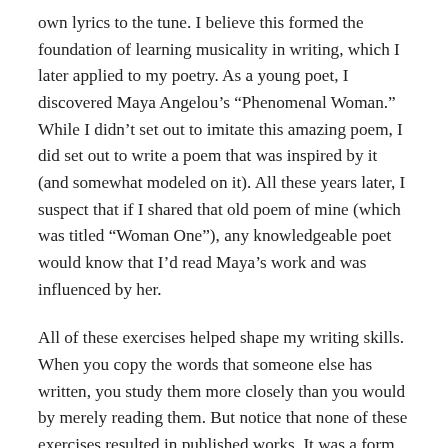own lyrics to the tune. I believe this formed the foundation of learning musicality in writing, which I later applied to my poetry. As a young poet, I discovered Maya Angelou’s “Phenomenal Woman.” While I didn’t set out to imitate this amazing poem, I did set out to write a poem that was inspired by it (and somewhat modeled on it). All these years later, I suspect that if I shared that old poem of mine (which was titled “Woman One”), any knowledgeable poet would know that I’d read Maya’s work and was influenced by her.
All of these exercises helped shape my writing skills. When you copy the words that someone else has written, you study them more closely than you would by merely reading them. But notice that none of these exercises resulted in published works. It was a form of study and practice.
Who hasn’t buried themselves in a novel, only to put it down and find the voice of the narrative continuing inside their own mind? Copying a text can have the same effect, but it works